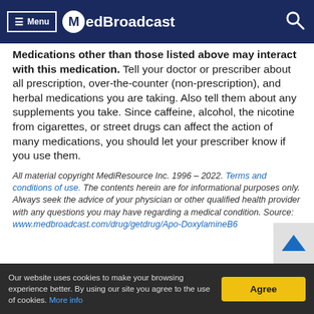≡ Menu  MedBroadcast
Medications other than those listed above may interact with this medication. Tell your doctor or prescriber about all prescription, over-the-counter (non-prescription), and herbal medications you are taking. Also tell them about any supplements you take. Since caffeine, alcohol, the nicotine from cigarettes, or street drugs can affect the action of many medications, you should let your prescriber know if you use them.
All material copyright MediResource Inc. 1996 – 2022. Terms and conditions of use. The contents herein are for informational purposes only. Always seek the advice of your physician or other qualified health provider with any questions you may have regarding a medical condition. Source: www.medbroadcast.com/drug/getdrug/Apo-DoxylamineB6
Our website uses cookies to make your browsing experience better. By using our site you agree to the use of cookies. More info   Agree